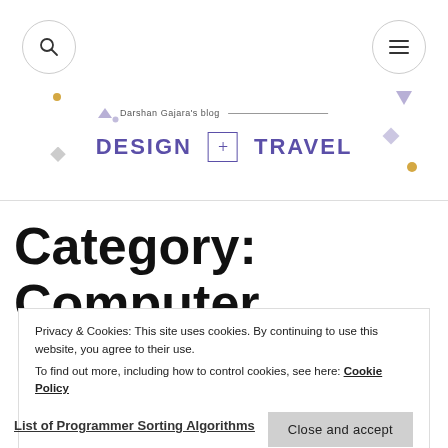Darshan Gajara's blog — DESIGN + TRAVEL
Category: Computer
Privacy & Cookies: This site uses cookies. By continuing to use this website, you agree to their use.
To find out more, including how to control cookies, see here: Cookie Policy
Close and accept
List of Programmer Sorting Algorithms